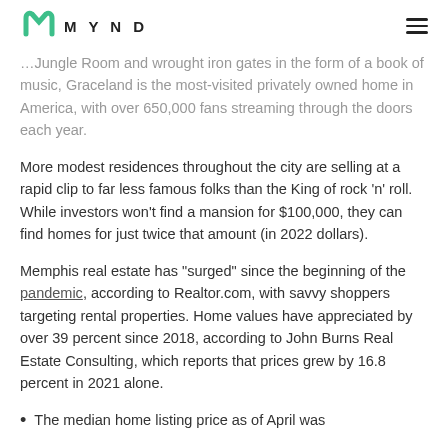MYND
Jungle Room and wrought iron gates in the form of a book of music, Graceland is the most-visited privately owned home in America, with over 650,000 fans streaming through the doors each year.
More modest residences throughout the city are selling at a rapid clip to far less famous folks than the King of rock 'n' roll. While investors won't find a mansion for $100,000, they can find homes for just twice that amount (in 2022 dollars).
Memphis real estate has “surged” since the beginning of the pandemic, according to Realtor.com, with savvy shoppers targeting rental properties. Home values have appreciated by over 39 percent since 2018, according to John Burns Real Estate Consulting, which reports that prices grew by 16.8 percent in 2021 alone.
The median home listing price as of April was